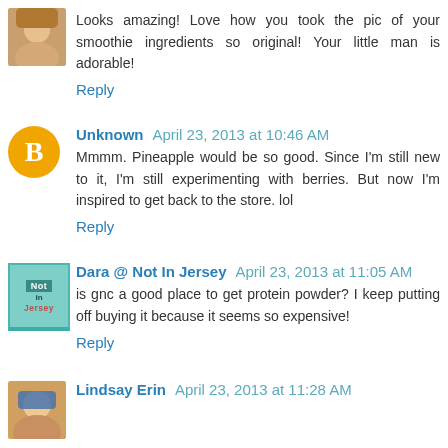Looks amazing! Love how you took the pic of your smoothie ingredients so original! Your little man is adorable!
Reply
Unknown April 23, 2013 at 10:46 AM
Mmmm. Pineapple would be so good. Since I'm still new to it, I'm still experimenting with berries. But now I'm inspired to get back to the store. lol
Reply
Dara @ Not In Jersey April 23, 2013 at 11:05 AM
is gnc a good place to get protein powder? I keep putting off buying it because it seems so expensive!
Reply
Lindsay Erin April 23, 2013 at 11:28 AM